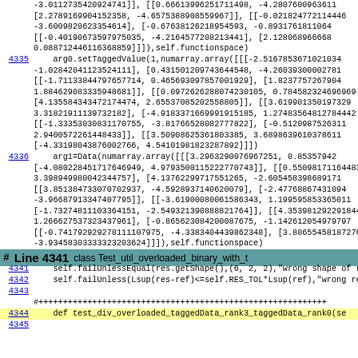-3.0112735420924741]], [[0.66613996251711498, -4.2807600963611 [2.2789169904152358, -4.6575388908559967]], [[-0.021824772114446 -3.6009820623354614], [-0.67638126218954593, -0.89317618110649 [[-0.40190673597975035, -4.2164577208213441], [2.1280689666688 0.088712446116368859]]]),self.functionspace)
4335     arg0.setTaggedValue(1,numarray.array([[[-2.5167853671021034 -1.028420411235241], [0.43150120974364548, -4.2603930002781 [[-1.7113384479765714, 0.46569309785701929], [1.82377572679044 1.88462908335948681]], [[0.097262880742301105, 0.78458232469669 [4.13558434372174474, 2.6553708520258805]], [[3.6199013501973329 3.3182191137332182], [-4.9183716699915185, 1.274835648127844442 [[-1.3335303803117055, -3.8176652808277822], [-0.512098752631] 2.940057261448433]], [[3.5090862536180385, 3.689863961037861 [-4.3319804376002766, 4.5410198182378921]]]))
4336     arg1=Data(numarray.array([[[3.2963290076967251, 0.85357942 [-4.0802845171646949, 4.97935011522770743]], [[0.5509817116483 3.39894998042344757], [4.13762297175551265, -2.605458398689171 [[3.8513847330702937, -4.5928937140620079], [-2.4776867431094 -3.9668791347407795]], [[-3.6190008061586343, 1.19959585365011 [-1.7327481103364151, -2.54932139088821764]], [[4.35398129291844 1.266275373243796]], [-0.86562308420087675, -1.14261205497979 [[-0.74179292781107975, -4.338340439862348], [3.88655458187266 -3.93458303333203624]]]),self.functionspace)
# Line 4341 class Test_util_overloaded_binary_with_t
4341     self.failUnlessEqual(res.getShape(),(6, 2, 2),"wrong shape of res
4342     self.failUnless(Lsup(res-ref)<=self.RES_TOL*Lsup(ref),"wrong re
4343
#++++++++++++++++++++++++++++++++++++++++++++++++++++++++
4344     def test_div_overloaded_taggedData_rank3_taggedData_rank0(se
4345